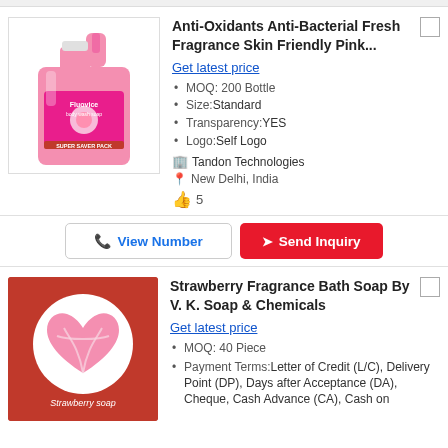[Figure (photo): Pink 5-litre handwash bottle with Fluovice brand label]
Anti-Oxidants Anti-Bacterial Fresh Fragrance Skin Friendly Pink...
Get latest price
MOQ: 200 Bottle
Size:Standard
Transparency:YES
Logo:Self Logo
Tandon Technologies
New Delhi, India
👍 5
View Number  Send Inquiry
[Figure (photo): Heart-shaped pink strawberry soap on red background with text 'Strawberry soap']
Strawberry Fragrance Bath Soap By V. K. Soap & Chemicals
Get latest price
MOQ: 40 Piece
Payment Terms:Letter of Credit (L/C), Delivery Point (DP), Days after Acceptance (DA), Cheque, Cash Advance (CA), Cash on